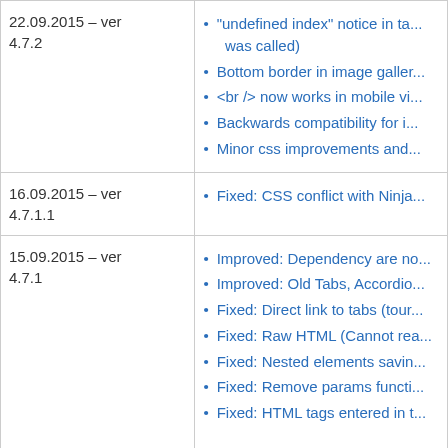| Date/Version | Changes |
| --- | --- |
| 22.09.2015 – ver 4.7.2 | 'undefined index' notice in ta... was called)
Bottom border in image galler...
<br /> now works in mobile vi...
Backwards compatibility for i...
Minor css improvements and... |
| 16.09.2015 – ver 4.7.1.1 | Fixed: CSS conflict with Ninja... |
| 15.09.2015 – ver 4.7.1 | Improved: Dependency are no...
Improved: Old Tabs, Accordio...
Fixed: Direct link to tabs (tour...
Fixed: Raw HTML (Cannot rea...
Fixed: Nested elements savin...
Fixed: Remove params functi...
Fixed: HTML tags entered in t... |